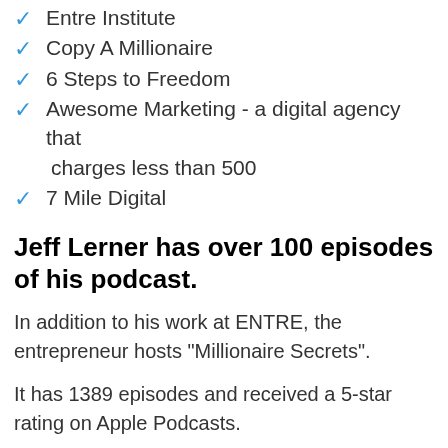Entre Institute
Copy A Millionaire
6 Steps to Freedom
Awesome Marketing - a digital agency that charges less than 500
7 Mile Digital
Jeff Lerner has over 100 episodes of his podcast.
In addition to his work at ENTRE, the entrepreneur hosts "Millionaire Secrets".
It has 1389 episodes and received a 5-star rating on Apple Podcasts.